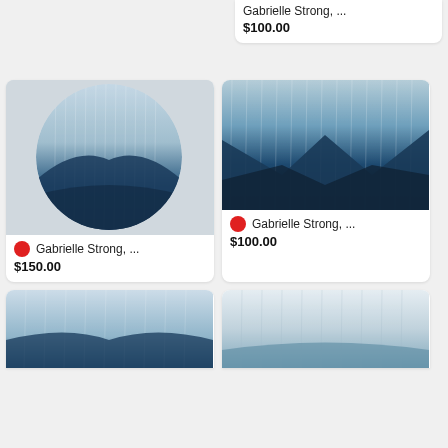[Figure (illustration): Top-right partial card showing abstract blue rain/mountain artwork]
Gabrielle Strong, ...
$100.00
[Figure (illustration): Circular abstract blue rain/mountain painting on gray background]
Gabrielle Strong, ...
$150.00
[Figure (illustration): Square abstract blue rain/mountain painting with dark V-shape valleys]
Gabrielle Strong, ...
$100.00
[Figure (illustration): Bottom-left partial card showing light blue abstract artwork]
[Figure (illustration): Bottom-right partial card showing white/light abstract artwork]